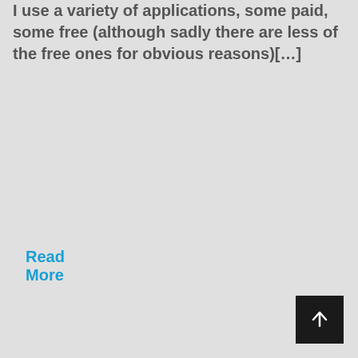I use a variety of applications, some paid, some free (although sadly there are less of the free ones for obvious reasons)[…]
Read More
[Figure (other): Dark square button with upward arrow icon for scrolling to top of page]